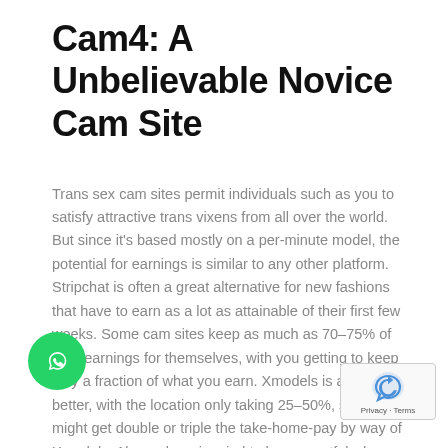Cam4: A Unbelievable Novice Cam Site
Trans sex cam sites permit individuals such as you to satisfy attractive trans vixens from all over the world. But since it's based mostly on a per-minute model, the potential for earnings is similar to any other platform. Stripchat is often a great alternative for new fashions that have to earn as a lot as attainable of their first few weeks. Some cam sites keep as much as 70–75% of your earnings for themselves, with you getting to keep only a fraction of what you earn. Xmodels is a lot better, with the location only taking 25–50%, so you might get double or triple the take-home-pay by way of Xmodels. Always bear in mind to be respectful when chatting with different individuals or cam fashions.